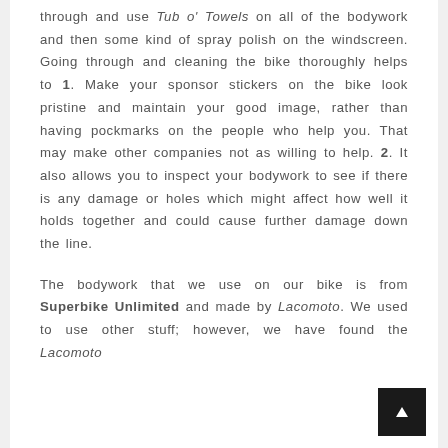through and use Tub o' Towels on all of the bodywork and then some kind of spray polish on the windscreen. Going through and cleaning the bike thoroughly helps to 1. Make your sponsor stickers on the bike look pristine and maintain your good image, rather than having pockmarks on the people who help you. That may make other companies not as willing to help. 2. It also allows you to inspect your bodywork to see if there is any damage or holes which might affect how well it holds together and could cause further damage down the line.
The bodywork that we use on our bike is from Superbike Unlimited and made by Lacomoto. We used to use other stuff; however, we have found the Lacomoto